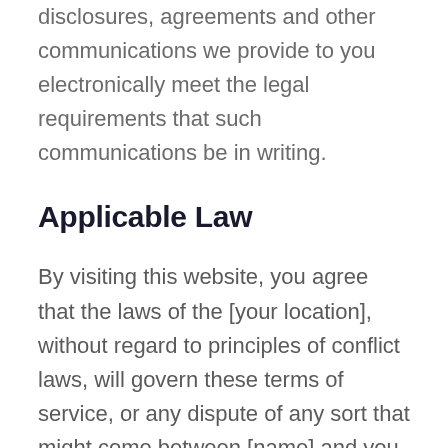disclosures, agreements and other communications we provide to you electronically meet the legal requirements that such communications be in writing.
Applicable Law
By visiting this website, you agree that the laws of the [your location], without regard to principles of conflict laws, will govern these terms of service, or any dispute of any sort that might come between [name] and you, or its business partners and associates.